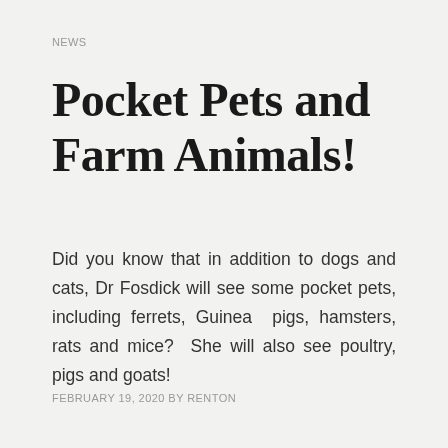NEWS
Pocket Pets and Farm Animals!
Did you know that in addition to dogs and cats, Dr Fosdick will see some pocket pets, including ferrets, Guinea pigs, hamsters, rats and mice?  She will also see poultry, pigs and goats!
FEBRUARY 19, 2020 BY RENTON